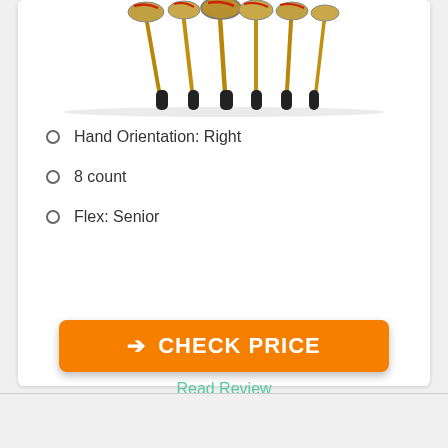[Figure (photo): Golf clubs (irons/woods) set standing upright, product photo on white background]
Hand Orientation: Right
8 count
Flex: Senior
CHECK PRICE
Read Review